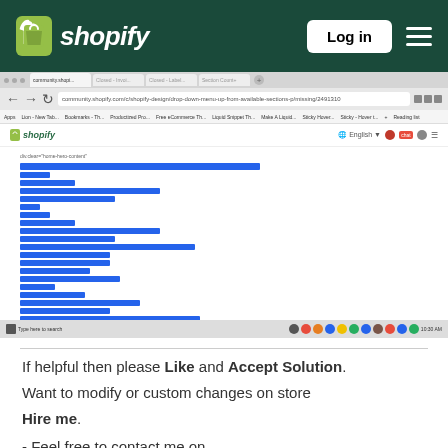Shopify navigation bar with logo, Log in button, and hamburger menu
[Figure (screenshot): Screenshot of a Shopify admin page showing selected code in the code editor with blue highlighted lines of code, inside a browser window]
If helpful then please Like and Accept Solution. Want to modify or custom changes on store Hire me.
- Feel free to contact me on